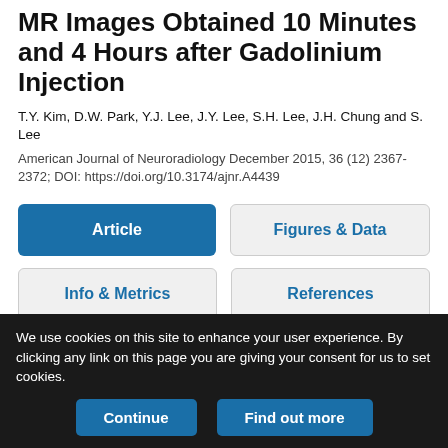MR Images Obtained 10 Minutes and 4 Hours after Gadolinium Injection
T.Y. Kim, D.W. Park, Y.J. Lee, J.Y. Lee, S.H. Lee, J.H. Chung and S. Lee
American Journal of Neuroradiology December 2015, 36 (12) 2367-2372; DOI: https://doi.org/10.3174/ajnr.A4439
[Figure (screenshot): Navigation buttons: Article (active/blue), Figures & Data, Info & Metrics, References, PDF]
We use cookies on this site to enhance your user experience. By clicking any link on this page you are giving your consent for us to set cookies.